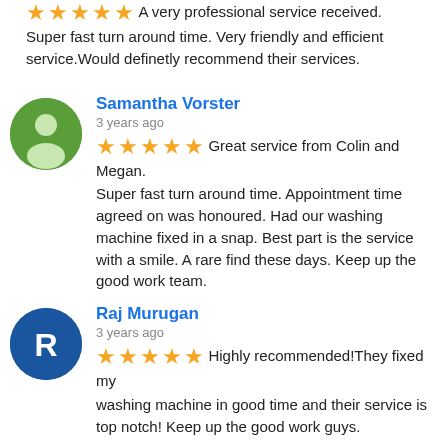★★★★★ A very professional service received. Super fast turn around time. Very friendly and efficient service.Would definetly recommend their services.
Samantha Vorster — 3 years ago — ★★★★★ Great service from Colin and Megan. Super fast turn around time. Appointment time agreed on was honoured. Had our washing machine fixed in a snap. Best part is the service with a smile. A rare find these days. Keep up the good work team.
Raj Murugan — 3 years ago — ★★★★★ Highly recommended!They fixed my washing machine in good time and their service is top notch! Keep up the good work guys.
Tracy Leah — 3 years ago — ★★★★★ Fantastic experience. Very friendly and able to assist at short notice. Kept me up to date at all times on the progress and repairs done quickly. Well priced - would definitel...